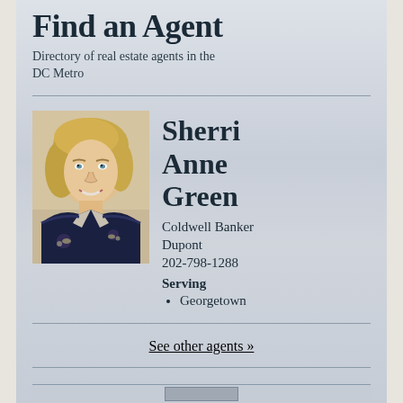Find an Agent
Directory of real estate agents in the DC Metro
[Figure (photo): Professional headshot of Sherri Anne Green, a woman with blonde hair wearing a dark floral jacket, smiling.]
Sherri Anne Green
Coldwell Banker Dupont
202-798-1288
Serving
Georgetown
See other agents »
Find a Lender
Directory of lenders in the DC Metro